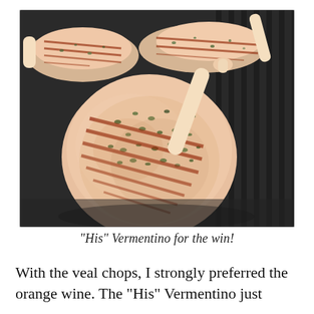[Figure (photo): Grilled veal chops with herb seasoning and grill marks on a dark cast-iron grill pan. Two chops visible in the background and one large chop in the foreground, seasoned with dried herbs and showing char lines from the grill.]
“His” Vermentino for the win!
With the veal chops, I strongly preferred the orange wine. The “His” Vermentino just